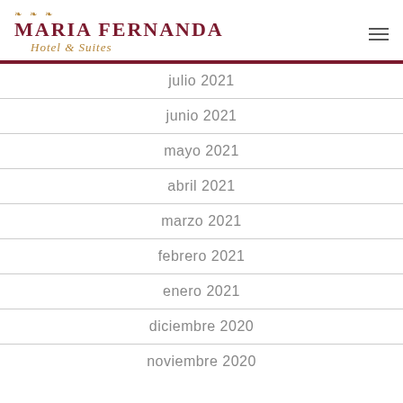[Figure (logo): Maria Fernanda Hotel & Suites logo with ornamental design in dark red and gold]
julio 2021
junio 2021
mayo 2021
abril 2021
marzo 2021
febrero 2021
enero 2021
diciembre 2020
noviembre 2020